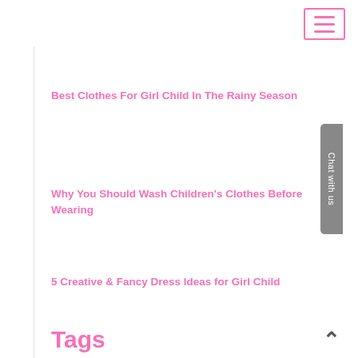Best Clothes For Girl Child In The Rainy Season
Why You Should Wash Children's Clothes Before Wearing
5 Creative & Fancy Dress Ideas for Girl Child
Tags